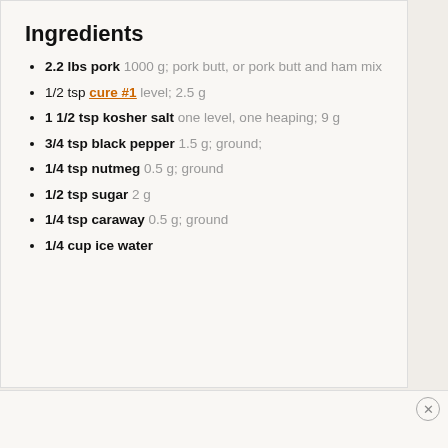Ingredients
2.2 lbs pork 1000 g; pork butt, or pork butt and ham mix
1/2 tsp cure #1 level; 2.5 g
1 1/2 tsp kosher salt one level, one heaping; 9 g
3/4 tsp black pepper 1.5 g; ground;
1/4 tsp nutmeg 0.5 g; ground
1/2 tsp sugar 2 g
1/4 tsp caraway 0.5 g; ground
1/4 cup ice water